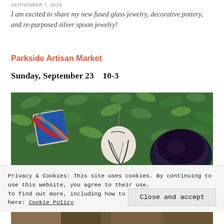SEPTEMBER 7, 2018
I am excited to share my new fused glass jewelry, decorative pottery, and re-purposed silver spoon jewelry!
Parkside Artisan Market
Sunday, September 23    10-3
[Figure (photo): Decorative pottery pieces arranged on green leafy foliage background — a colorful painted cup, a white ceramic ornament with dark drips, and a dark glazed bowl]
Privacy & Cookies: This site uses cookies. By continuing to use this website, you agree to their use.
To find out more, including how to control cookies, see here: Cookie Policy
Close and accept
[Figure (photo): Partial view of another photo at the bottom of the page]